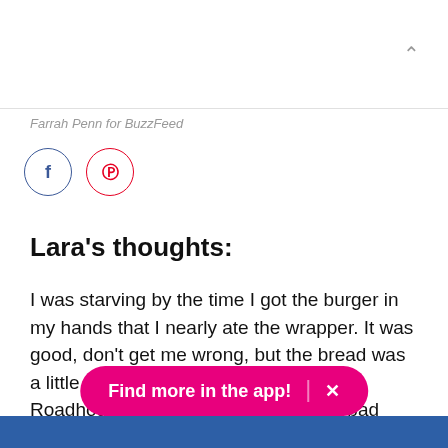Farrah Penn for BuzzFeed
[Figure (other): Social share buttons: Facebook (blue circle) and Pinterest (red circle)]
Lara's thoughts:
I was starving by the time I got the burger in my hands that I nearly ate the wrapper. It was good, don't get me wrong, but the bread was a little too soft. It reminded me of Texas Roadhouse rolls, although that isn't a bad memory. The meat was like...wet meat? It was soft and mushy? It was good, but not something I could eat eve
Find more in the app!